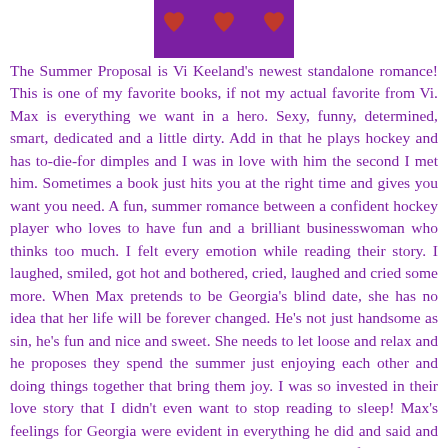[Figure (illustration): Purple rectangle banner with three red/pink hearts on it]
The Summer Proposal is Vi Keeland's newest standalone romance! This is one of my favorite books, if not my actual favorite from Vi. Max is everything we want in a hero. Sexy, funny, determined, smart, dedicated and a little dirty. Add in that he plays hockey and has to-die-for dimples and I was in love with him the second I met him. Sometimes a book just hits you at the right time and gives you want you need. A fun, summer romance between a confident hockey player who loves to have fun and a brilliant businesswoman who thinks too much. I felt every emotion while reading their story. I laughed, smiled, got hot and bothered, cried, laughed and cried some more. When Max pretends to be Georgia's blind date, she has no idea that her life will be forever changed. He's not just handsome as sin, he's fun and nice and sweet. She needs to let loose and relax and he proposes they spend the summer just enjoying each other and doing things together that bring them joy. I was so invested in their love story that I didn't even want to stop reading to sleep! Max's feelings for Georgia were evident in everything he did and said and even though she struggled with every decision to her life being with Max, you never doubted for a bit if